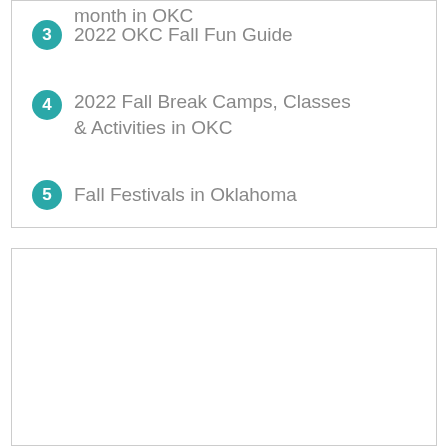month in OKC
3 2022 OKC Fall Fun Guide
4 2022 Fall Break Camps, Classes & Activities in OKC
5 Fall Festivals in Oklahoma